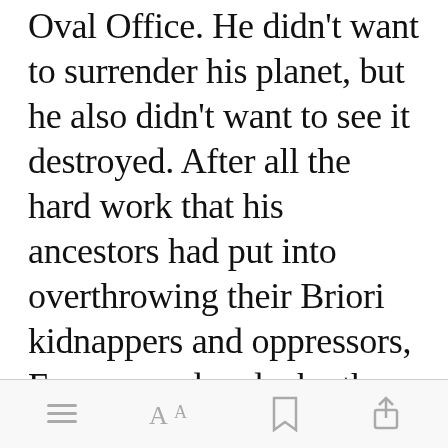Oval Office. He didn't want to surrender his planet, but he also didn't want to see it destroyed. After all the hard work that his ancestors had put into overthrowing their Briori kidnappers and oppressors, Evans wondered why they destroyed Briori technology. It would have certainly been useful. After a few minutes in deep thought, Larkin had his "Eureka!" moment.
[Figure (other): Mobile app toolbar with menu (hamburger), font size (Aa), bookmark, and share icons]